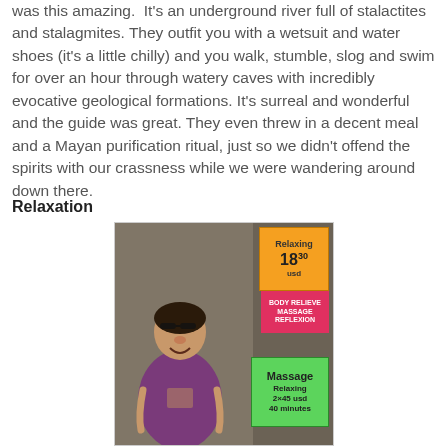was this amazing.  It's an underground river full of stalactites and stalagmites. They outfit you with a wetsuit and water shoes (it's a little chilly) and you walk, stumble, slog and swim for over an hour through watery caves with incredibly evocative geological formations. It's surreal and wonderful and the guide was great. They even threw in a decent meal and a Mayan purification ritual, just so we didn't offend the spirits with our crassness while we were wandering around down there.
Relaxation
[Figure (photo): A person standing in front of a massage shop, looking upward with a smile, wearing a purple t-shirt and sunglasses on their forehead. Several signs are visible: an orange sign reading 'Relaxing 18.30 usd', a red/pink sign in the middle, and a green sign reading 'Massage Relaxing 2x45 usd 40 minutes'.]